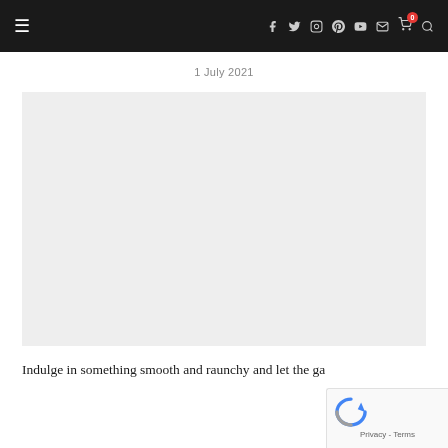Navigation bar with hamburger menu and social/action icons (Facebook, Twitter, Instagram, Pinterest, YouTube, Email, Cart, Search)
1 July 2021
[Figure (photo): Large light grey placeholder image block]
Indulge in something smooth and raunchy and let the ga...